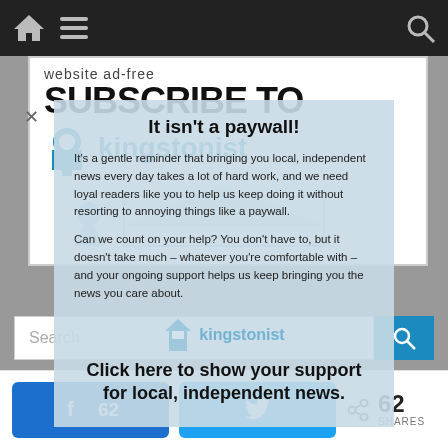[Figure (screenshot): Navigation bar with home icon, hamburger menu, and search icon on dark background]
[Figure (screenshot): Background website content showing Kingstonist subscribe banner and search bar, overlaid with semi-transparent modal]
It isn't a paywall!
It's a gentle reminder that bringing you local, independent news every day takes a lot of hard work, and we need loyal readers like you to help us keep doing it without resorting to annoying things like a paywall.
Can we count on your help? You don't have to, but it doesn't take much – whatever you're comfortable with – and your ongoing support helps us keep bringing you the news you care about.
Click here to show your support for local, independent news.
[Figure (screenshot): Bottom share bar with Facebook share button showing 62, Twitter share button, and share count of 62 SHARES]